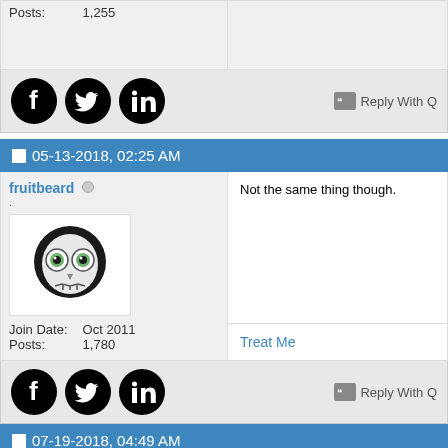Posts: 1,255
[Figure (screenshot): Social media share icons: Facebook, Twitter, LinkedIn (black circles) and Reply With Quote button]
05-13-2018, 02:25 AM
fruitbeard
[Figure (photo): Avatar: cartoon skull/owl face with green eyes on dark background]
Join Date: Oct 2011
Posts: 1,780
Not the same thing though.
Treat Me
[Figure (screenshot): Social media share icons: Facebook, Twitter, LinkedIn (black circles) and Reply With Quote button]
07-19-2018, 04:49 AM
noelon
Never tired but Flowpaper can be a good option.